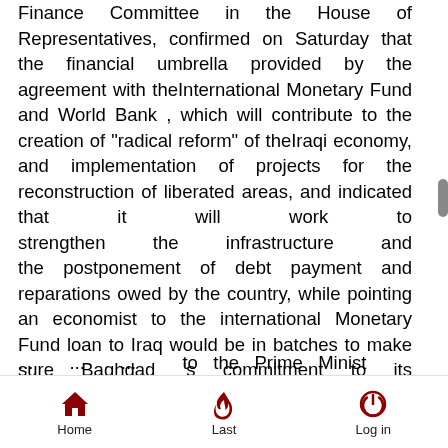Finance Committee in the House of Representatives, confirmed on Saturday that the financial umbrella provided by the agreement with theInternational Monetary Fund and World Bank , which will contribute to the creation of "radical reform" of theIraqi economy, and implementation of projects for the reconstruction of liberated areas, and indicated that it will work to strengthen the infrastructure and the postponement of debt payment and reparations owed by the country, while pointing an economist to the international Monetary Fund loan to Iraq would be in batches to make sure Baghdad 's commitment to its recommendations and to leave the "economic tampering and waste of public money" approach.
...to the Prime Minist...
Home  Last  Log in